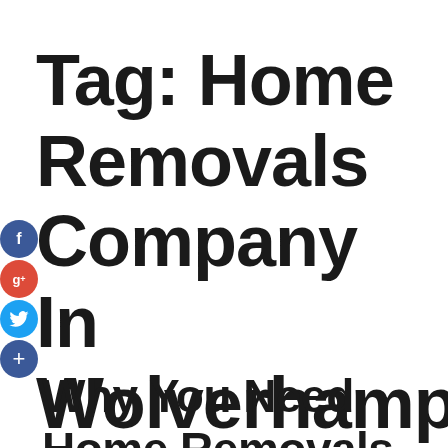Tag: Home Removals Company In Wolverhampton
Why You Need Home Removals Company In